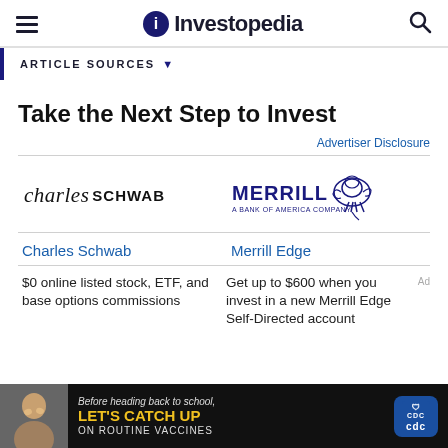Investopedia
ARTICLE SOURCES ▼
Take the Next Step to Invest
Advertiser Disclosure
[Figure (logo): Charles Schwab logo — italic 'charles' and bold 'SCHWAB' wordmark]
[Figure (logo): Merrill Lynch logo — MERRILL with lion graphic, 'A BANK OF AMERICA COMPANY' subtitle]
Charles Schwab
Merrill Edge
$0 online listed stock, ETF, and base options commissions
Get up to $600 when you invest in a new Merrill Edge Self-Directed account
[Figure (photo): CDC advertisement banner: 'Before heading back to school, LET'S CATCH UP ON ROUTINE VACCINES' with CDC logo, dark background]